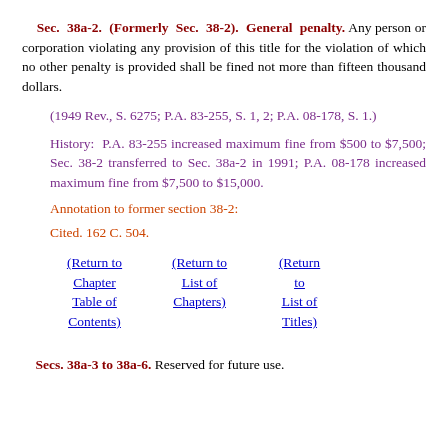Sec. 38a-2. (Formerly Sec. 38-2). General penalty. Any person or corporation violating any provision of this title for the violation of which no other penalty is provided shall be fined not more than fifteen thousand dollars.
(1949 Rev., S. 6275; P.A. 83-255, S. 1, 2; P.A. 08-178, S. 1.)
History: P.A. 83-255 increased maximum fine from $500 to $7,500; Sec. 38-2 transferred to Sec. 38a-2 in 1991; P.A. 08-178 increased maximum fine from $7,500 to $15,000.
Annotation to former section 38-2:
Cited. 162 C. 504.
(Return to Chapter Table of Contents)  (Return to List of Chapters)  (Return to List of Titles)
Secs. 38a-3 to 38a-6. Reserved for future use.